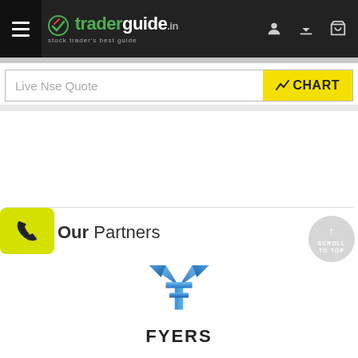traderguide.in — stock trader's best guide
Live Nse Quote
[Figure (logo): CHART button with chart icon in yellow]
[Figure (logo): Fyers broker partner logo with stylized F icon and FYERS text]
Our Partners